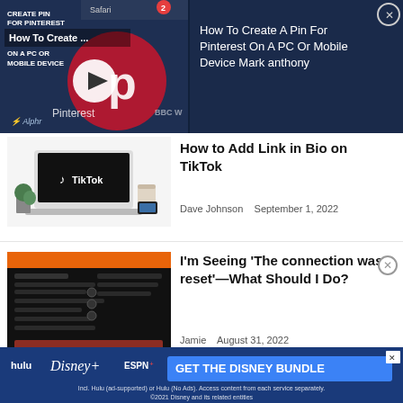[Figure (screenshot): Video ad banner for Pinterest tutorial: How To Create A Pin For Pinterest On A PC Or Mobile Device. Left side shows Pinterest app screenshot with play button, Alphr logo. Right side shows title text on dark blue background with close button.]
How To Create A Pin For Pinterest On A PC Or Mobile Device Mark anthony
[Figure (screenshot): Thumbnail showing a laptop with TikTok logo on screen, plants and coffee cup nearby, on white background.]
How to Add Link in Bio on TikTok
Dave Johnson   September 1, 2022
[Figure (screenshot): Thumbnail showing a dark browser settings/error screen with orange accent header.]
I'm Seeing 'The connection was reset'—What Should I Do?
Jamie   August 31, 2022
[Figure (screenshot): Partial thumbnail for How to Use a VPN With article, partially visible at bottom.]
How to Use a VPN With
[Figure (screenshot): Disney+ advertising banner at the bottom showing Hulu, Disney+, ESPN+ logos and GET THE DISNEY BUNDLE button.]
Incl. Hulu (ad-supported) or Hulu (No Ads). Access content from each service separately. ©2021 Disney and its related entities